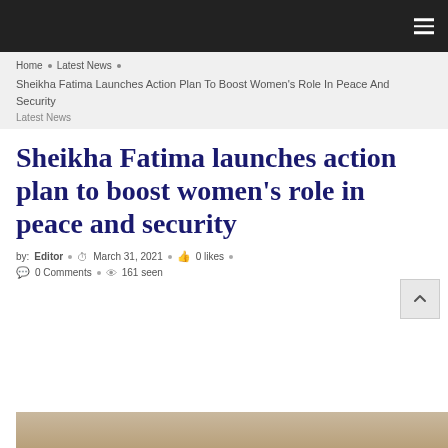Home • Latest News •
Sheikha Fatima Launches Action Plan To Boost Women's Role In Peace And Security
Latest News
Sheikha Fatima launches action plan to boost women's role in peace and security
by: Editor • March 31, 2021 • 0 likes • 0 Comments • 161 seen
[Figure (photo): Photo showing people at an official event, partially visible at bottom of page]